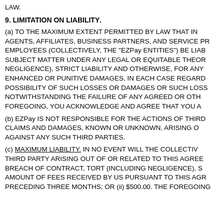LAW.
9. LIMITATION ON LIABILITY.
(a) TO THE MAXIMUM EXTENT PERMITTED BY LAW THAT IN AGENTS, AFFILIATES, BUSINESS PARTNERS, AND SERVICE PR EMPLOYEES (COLLECTIVELY, THE "EZPay ENTITIES") BE LIAB SUBJECT MATTER UNDER ANY LEGAL OR EQUITABLE THEOR NEGLIGENCE), STRICT LIABILITY AND OTHERWISE, FOR ANY ENHANCED OR PUNITIVE DAMAGES, IN EACH CASE REGARD POSSIBILITY OF SUCH LOSSES OR DAMAGES OR SUCH LOSS NOTWITHSTANDING THE FAILURE OF ANY AGREED OR OTH FOREGOING, YOU ACKNOWLEDGE AND AGREE THAT YOU A
(b) EZPay IS NOT RESPONSIBLE FOR THE ACTIONS OF THIRD CLAIMS AND DAMAGES, KNOWN OR UNKNOWN, ARISING O AGAINST ANY SUCH THIRD PARTIES.
(c) MAXIMUM LIABILITY. IN NO EVENT WILL THE COLLECTIV THIRD PARTY ARISING OUT OF OR RELATED TO THIS AGREE BREACH OF CONTRACT, TORT (INCLUDING NEGLIGENCE), S AMOUNT OF FEES RECEIVED BY US PURSUANT TO THIS AGR PRECEDING THREE MONTHS; OR (ii) $500.00. THE FOREGOING